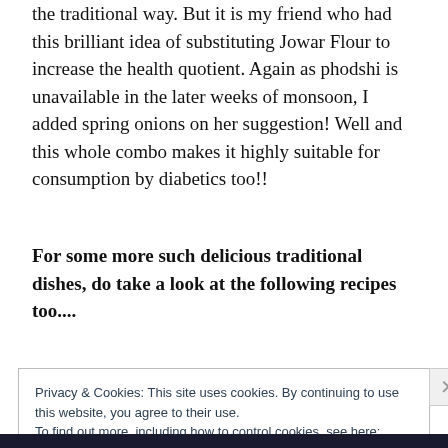the traditional way. But it is my friend who had this brilliant idea of substituting Jowar Flour to increase the health quotient. Again as phodshi is unavailable in the later weeks of monsoon, I added spring onions on her suggestion! Well and this whole combo makes it highly suitable for consumption by diabetics too!!
For some more such delicious traditional dishes, do take a look at the following recipes too....
Privacy & Cookies: This site uses cookies. By continuing to use this website, you agree to their use.
To find out more, including how to control cookies, see here:
Cookie Policy

Close and accept